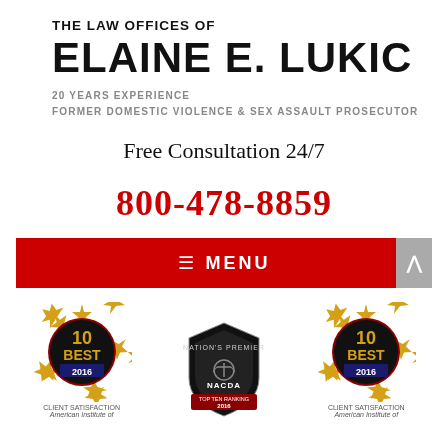THE LAW OFFICES OF ELAINE E. LUKIC
20 YEARS EXPERIENCE
FORMER DOMESTIC VIOLENCE & SEX ASSAULT PROSECUTOR
Free Consultation 24/7
800-478-8859
≡ MENU
[Figure (logo): 10 BEST 2016 CLIENT SATISFACTION award badge with gold stars]
[Figure (logo): NACDA Nation's Premier Top Ten Ranking 2016 badge]
[Figure (logo): 10 BEST 2016 CLIENT SATISFACTION award badge with gold stars]